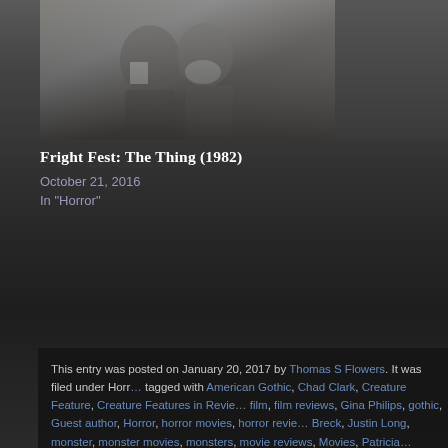[Figure (photo): Dark cinematic still from a movie, showing two figures in dim lighting]
Fright Fest: The Thing (1982)
October 21, 2016
In "Horror"
This entry was posted on January 20, 2017 by Thomas S Flowers. It was filed under Horr… and tagged with American Gothic, Chad Clark, Creature Feature, Creature Features in Revie…, film, film reviews, Gina Philips, gothic, Guest author, Horror, horror movies, horror revie…, Breck, Justin Long, monster, monster movies, monsters, movie reviews, Movies, Patricia…
Privacy & Cookies: This site uses cookies. By continuing to use this website, you agree to their use.
To find out more, including how to control cookies, see here: Cookie Policy
Close and accept